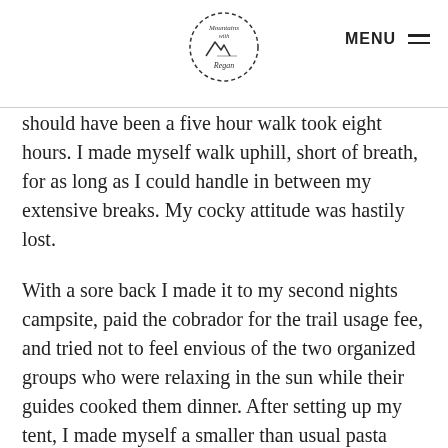Mountains with Regan | MENU
should have been a five hour walk took eight hours. I made myself walk uphill, short of breath, for as long as I could handle in between my extensive breaks. My cocky attitude was hastily lost.
With a sore back I made it to my second nights campsite, paid the cobrador for the trail usage fee, and tried not to feel envious of the two organized groups who were relaxing in the sun while their guides cooked them dinner. After setting up my tent, I made myself a smaller than usual pasta meal and tried to feel appreciation for the white peaks surrounding the valley.
Once again, I crawled into my tent just after sunset